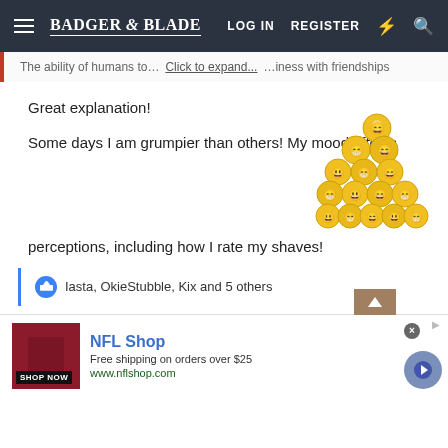Badger & Blade — LOG IN  REGISTER
The ability of humans to... Click to expand...
Great explanation!

Some days I am grumpier than others! My mood affects perceptions, including how I rate my shaves!
[Figure (illustration): Stack of laughing/grinning smiley face emoji piled in a pyramid shape]
Iasta, OkieStubble, Kix and 5 others
[Figure (infographic): NFL Shop advertisement banner: red product image with SHOP NOW button, NFL Shop brand name, 'Free shipping on orders over $25', www.nflshop.com URL, close button, and scroll navigation button]